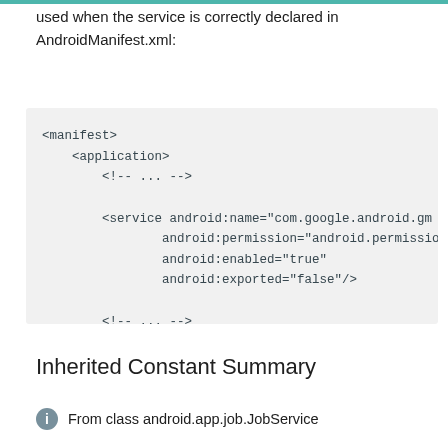used when the service is correctly declared in AndroidManifest.xml:
<manifest>
    <application>
        <!-- ... -->

        <service android:name="com.google.android.gm"
                android:permission="android.permission.B
                android:enabled="true"
                android:exported="false"/>

        <!-- ... -->
    </application>
</manifest>
Inherited Constant Summary
From class android.app.job.JobService